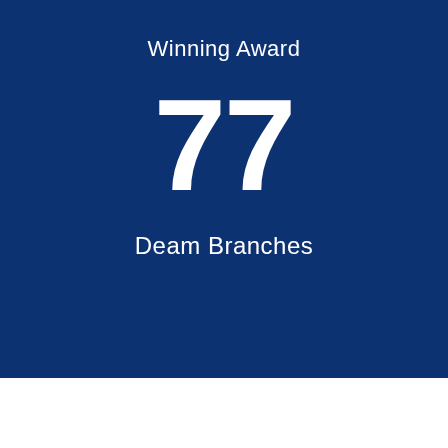Winning Award
77
Deam Branches